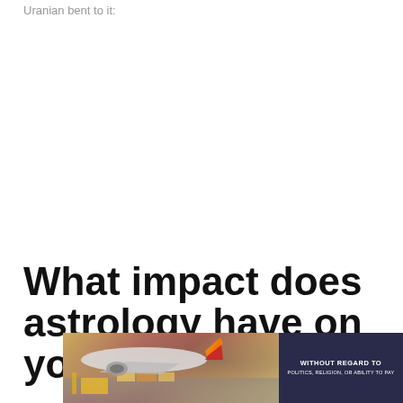Uranian bent to it:
What impact does astrology have on your personality?
[Figure (photo): Advertisement banner showing an airplane being loaded with cargo at an airport, with a dark navy text overlay box reading 'WITHOUT REGARD TO POLITICS, RELIGION, OR ABILITY TO PAY']